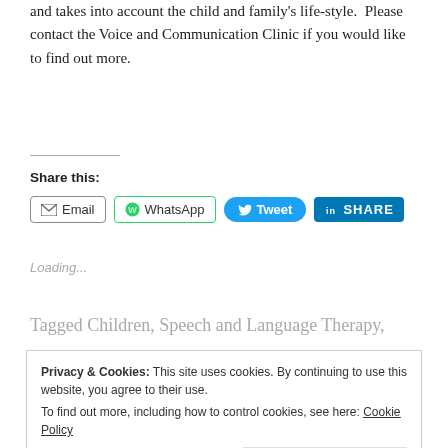and takes into account the child and family's life-style. Please contact the Voice and Communication Clinic if you would like to find out more.
Share this:
[Figure (other): Social sharing buttons: Email, WhatsApp, Tweet, LinkedIn SHARE]
Loading...
Tagged Children, Speech and Language Therapy,
Privacy & Cookies: This site uses cookies. By continuing to use this website, you agree to their use. To find out more, including how to control cookies, see here: Cookie Policy
Close and accept